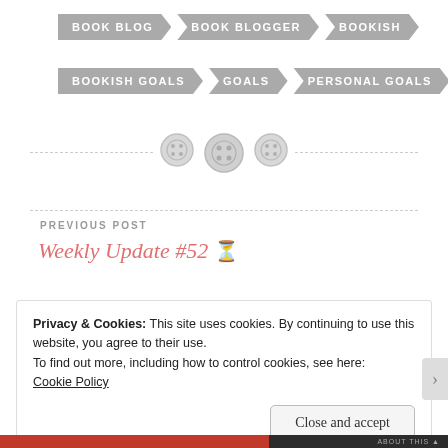BOOK BLOG
BOOK BLOGGER
BOOKISH
BOOKISH GOALS
GOALS
PERSONAL GOALS
[Figure (illustration): Decorative divider with three button/spool icons on a dashed horizontal line]
PREVIOUS POST
Weekly Update #52 ⏳
Privacy & Cookies: This site uses cookies. By continuing to use this website, you agree to their use.
To find out more, including how to control cookies, see here:
Cookie Policy
Close and accept